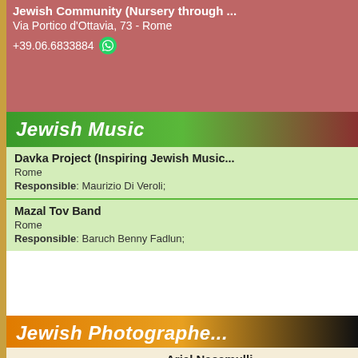Jewish Community (Nursery through...)
Via Portico d'Ottavia, 73 - Rome
+39.06.6833884
Jewish Music
Davka Project (Inspiring Jewish Music...)
Rome
Responsible: Maurizio Di Veroli;
Mazal Tov Band
Rome
Responsible: Baruch Benny Fadlun;
Jewish Photographers
Ariel Nacamulli
Rome
Giacomo Spizzichino
Rome
+39.338.1111387
Micol Piazza Sed